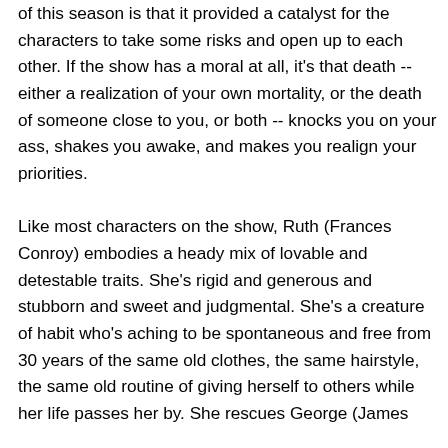of this season is that it provided a catalyst for the characters to take some risks and open up to each other. If the show has a moral at all, it's that death -- either a realization of your own mortality, or the death of someone close to you, or both -- knocks you on your ass, shakes you awake, and makes you realign your priorities.

Like most characters on the show, Ruth (Frances Conroy) embodies a heady mix of lovable and detestable traits. She's rigid and generous and stubborn and sweet and judgmental. She's a creature of habit who's aching to be spontaneous and free from 30 years of the same old clothes, the same hairstyle, the same old routine of giving herself to others while her life passes her by. She rescues George (James